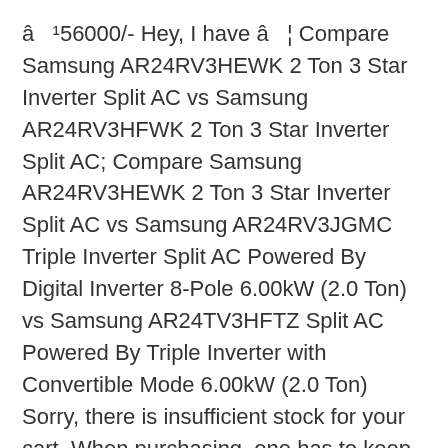â ¹56000/- Hey, I have â ¦ Compare Samsung AR24RV3HEWK 2 Ton 3 Star Inverter Split AC vs Samsung AR24RV3HFWK 2 Ton 3 Star Inverter Split AC; Compare Samsung AR24RV3HEWK 2 Ton 3 Star Inverter Split AC vs Samsung AR24RV3JGMC Triple Inverter Split AC Powered By Digital Inverter 8-Pole 6.00kW (2.0 Ton) vs Samsung AR24TV3HFTZ Split AC Powered By Triple Inverter with Convertible Mode 6.00kW (2.0 Ton) Sorry, there is insufficient stock for your cart. When purchasing, one has to keep electricity consumption in mind, too. By clicking ACCEPT or continuing to browse the site you are agreeing to our use of cookies. Goodman 2 Ton 14 Seer Air Conditioning System (AC only) GSX140241 - ARUF29B14. Samsung AR24NSF 2 Ton Inverter AC at the best price in Pakistan. It consumes power input. 2018","fileVersion":"1.0","fileSize":"11.27","contentsType